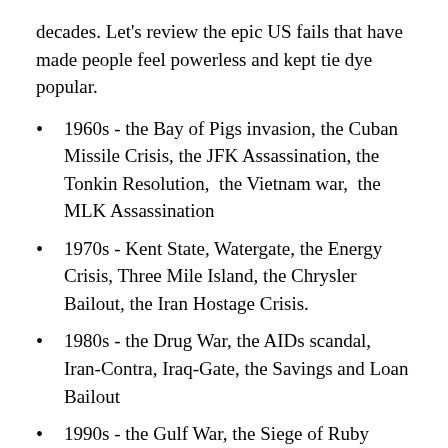decades. Let's review the epic US fails that have made people feel powerless and kept tie dye popular.
1960s - the Bay of Pigs invasion, the Cuban Missile Crisis, the JFK Assassination, the Tonkin Resolution, the Vietnam war, the MLK Assassination
1970s - Kent State, Watergate, the Energy Crisis, Three Mile Island, the Chrysler Bailout, the Iran Hostage Crisis.
1980s - the Drug War, the AIDs scandal, Iran-Contra, Iraq-Gate, the Savings and Loan Bailout
1990s - the Gulf War, the Siege of Ruby Ridge, the Waco standoff, the Oklahoma City bombing scandal
2000s - the 911 scandal, the War on Terror, the Iraq war, the Afgan war, the Housing